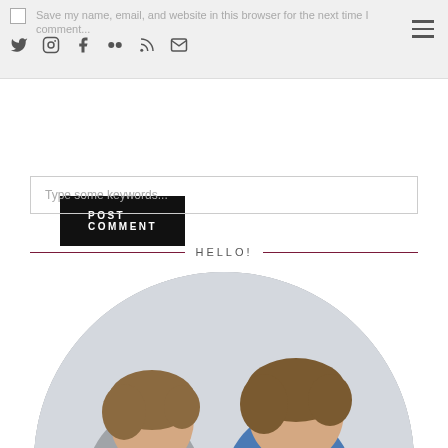Save my name, email, and website in this browser for the next time I comment...
POST COMMENT
Type some keywords...
HELLO!
[Figure (photo): Two young boys with brown hair leaning over a dark grey sofa or large cushion, looking downward. The boy on the left wears a grey shirt and the one on the right wears a blue shirt. The photo is cropped in a circular frame.]